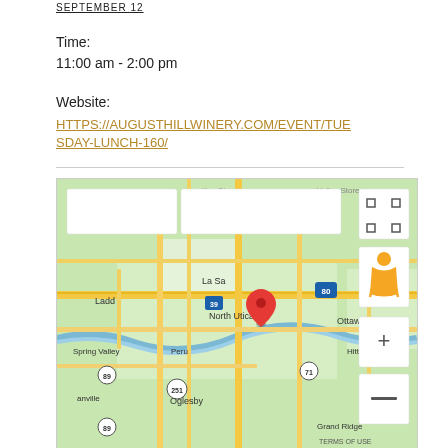SEPTEMBER 12
Time:
11:00 am - 2:00 pm
Website:
HTTPS://AUGUSTHILLWINERY.COM/EVENT/TUESDAY-LUNCH-160/
[Figure (map): Google Maps screenshot showing North Utica, Illinois area with a red location pin near North Utica. Surrounding areas include Ladd, La Salle, Spring Valley, Peru, Oglesby, Ottawa, Grand Ridge. Interstate 80 and routes 39, 71, 89, 251 are visible. Map controls include fullscreen, Street View person icon, zoom in (+) and zoom out (-) buttons. 'TERMS OF USE' shown at bottom right.]